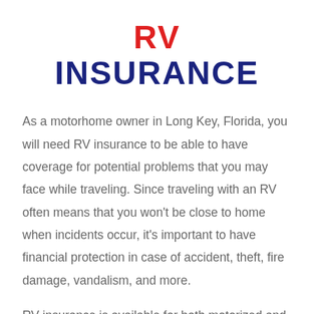RV INSURANCE
As a motorhome owner in Long Key, Florida, you will need RV insurance to be able to have coverage for potential problems that you may face while traveling. Since traveling with an RV often means that you won't be close to home when incidents occur, it's important to have financial protection in case of accident, theft, fire damage, vandalism, and more.
RV insurance is available for both motorized and towable RVs. Depending on your specific plan and the state you're in, you can have access to contents